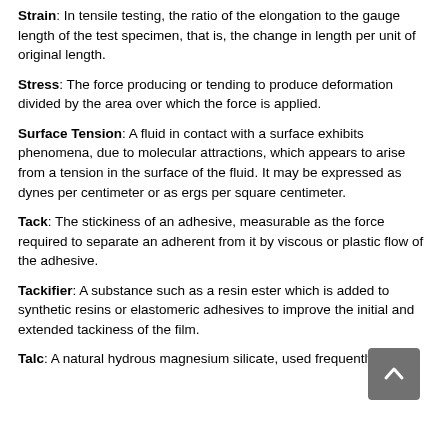Strain: In tensile testing, the ratio of the elongation to the gauge length of the test specimen, that is, the change in length per unit of original length.
Stress: The force producing or tending to produce deformation divided by the area over which the force is applied.
Surface Tension: A fluid in contact with a surface exhibits phenomena, due to molecular attractions, which appears to arise from a tension in the surface of the fluid. It may be expressed as dynes per centimeter or as ergs per square centimeter.
Tack: The stickiness of an adhesive, measurable as the force required to separate an adherent from it by viscous or plastic flow of the adhesive.
Tackifier: A substance such as a resin ester which is added to synthetic resins or elastomeric adhesives to improve the initial and extended tackiness of the film.
Talc: A natural hydrous magnesium silicate, used frequently as a